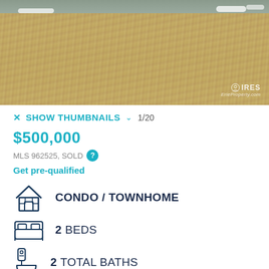[Figure (photo): Exterior lawn/yard photo of a property with dead/dormant grass, some snow patches visible in background, IRES ErieProperty.com watermark in bottom right corner.]
SHOW THUMBNAILS  1/20
$500,000
MLS 962525, SOLD ?
Get pre-qualified
CONDO / TOWNHOME
2 BEDS
2 TOTAL BATHS